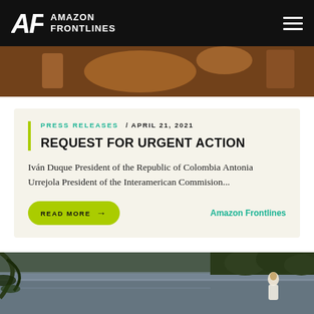AMAZON FRONTLINES
[Figure (photo): Partial top photo strip showing warm-toned background with orange/amber colors, likely people or objects in an outdoor setting]
PRESS RELEASES / APRIL 21, 2021
REQUEST FOR URGENT ACTION
Iván Duque President of the Republic of Colombia Antonia Urrejola President of the Interamerican Commision...
READ MORE →
Amazon Frontlines
[Figure (photo): River scene with calm water, overhanging vegetation on the left, trees along the bank, and a person in white clothing standing on the right bank]